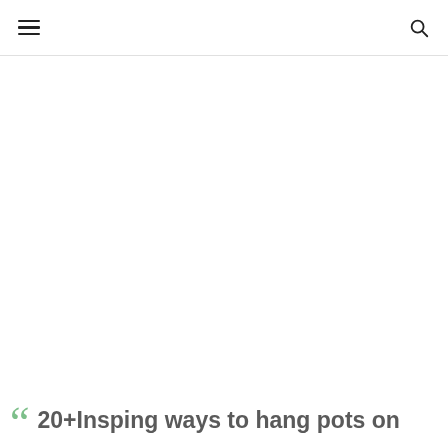☰   🔍
[Figure (photo): Large white/blank image area below the navigation header]
20+Insping ways to hang pots on